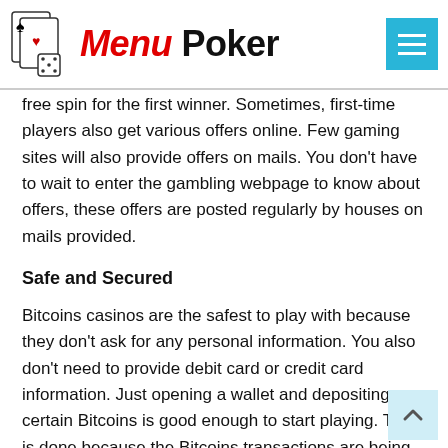Menu Poker
free spin for the first winner. Sometimes, first-time players also get various offers online. Few gaming sites will also provide offers on mails. You don't have to wait to enter the gambling webpage to know about offers, these offers are posted regularly by houses on mails provided.
Safe and Secured
Bitcoins casinos are the safest to play with because they don't ask for any personal information. You also don't need to provide debit card or credit card information. Just opening a wallet and depositing certain Bitcoins is good enough to start playing. This is done because the Bitcoins transactions are being handled by a bunch of volunteers, and no regulated body is concerned with the